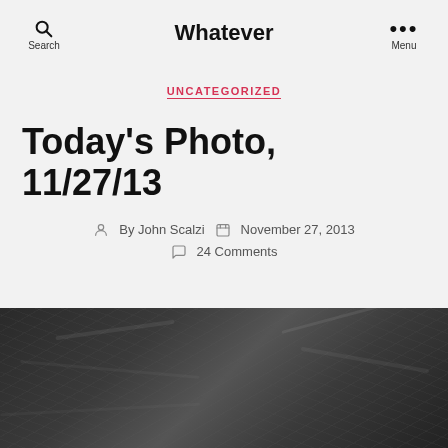Whatever
UNCATEGORIZED
Today's Photo, 11/27/13
By John Scalzi  November 27, 2013  24 Comments
[Figure (photo): Dark grayscale photograph, partially visible at the bottom of the page, showing dark textured surfaces with subtle light variations]